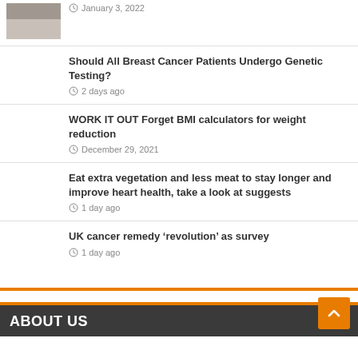January 3, 2022
Should All Breast Cancer Patients Undergo Genetic Testing? — 2 days ago
WORK IT OUT Forget BMI calculators for weight reduction — December 29, 2021
Eat extra vegetation and less meat to stay longer and improve heart health, take a look at suggests — 1 day ago
UK cancer remedy ‘revolution’ as survey — 1 day ago
ABOUT US